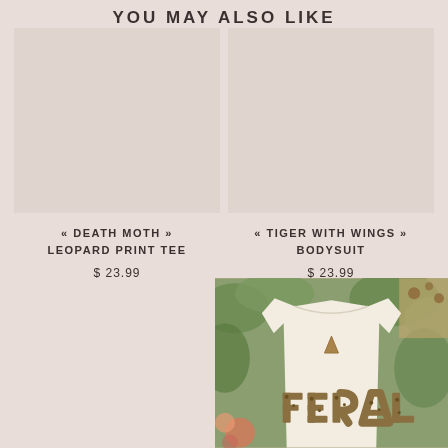YOU MAY ALSO LIKE
« DEATH MOTH » LEOPARD PRINT TEE
$ 23.99
« TIGER WITH WINGS » BODYSUIT
$ 23.99
[Figure (photo): White t-shirt with FERAL text in leopard print letters and a small triangle logo, displayed on a hanger against a green leafy background]